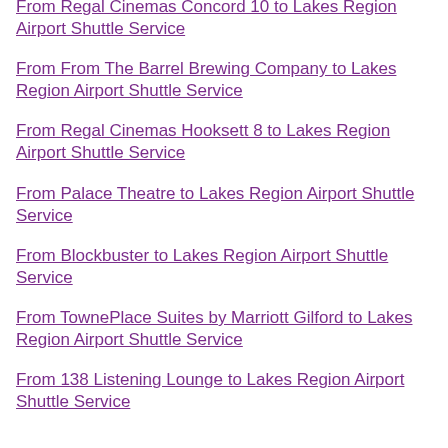From Regal Cinemas Concord 10 to Lakes Region Airport Shuttle Service
From From The Barrel Brewing Company to Lakes Region Airport Shuttle Service
From Regal Cinemas Hooksett 8 to Lakes Region Airport Shuttle Service
From Palace Theatre to Lakes Region Airport Shuttle Service
From Blockbuster to Lakes Region Airport Shuttle Service
From TownePlace Suites by Marriott Gilford to Lakes Region Airport Shuttle Service
From 138 Listening Lounge to Lakes Region Airport Shuttle Service